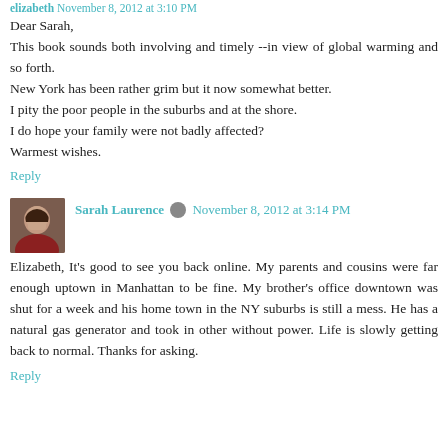elizabeth November 8, 2012 at 3:10 PM
Dear Sarah,
This book sounds both involving and timely --in view of global warming and so forth.
New York has been rather grim but it now somewhat better.
I pity the poor people in the suburbs and at the shore.
I do hope your family were not badly affected?
Warmest wishes.
Reply
Sarah Laurence  November 8, 2012 at 3:14 PM
Elizabeth, It's good to see you back online. My parents and cousins were far enough uptown in Manhattan to be fine. My brother's office downtown was shut for a week and his home town in the NY suburbs is still a mess. He has a natural gas generator and took in other without power. Life is slowly getting back to normal. Thanks for asking.
Reply